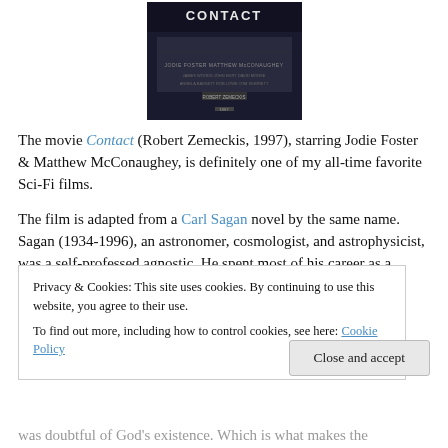[Figure (photo): Movie poster or cover image for the film 'Contact' showing dark background with the title CONTACT visible at top]
The movie Contact (Robert Zemeckis, 1997), starring Jodie Foster & Matthew McConaughey, is definitely one of my all-time favorite Sci-Fi films.
The film is adapted from a Carl Sagan novel by the same name. Sagan (1934-1996), an astronomer, cosmologist, and astrophysicist, was a self-professed agnostic. He spent most of his career as a professor and director of
Privacy & Cookies: This site uses cookies. By continuing to use this website, you agree to their use.
To find out more, including how to control cookies, see here: Cookie Policy
was doubtful of God's existence. Which is what makes the